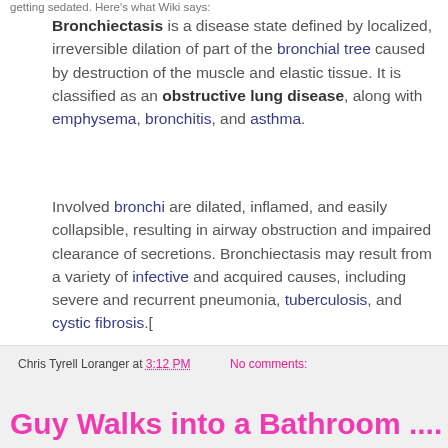getting sedated. Here's what Wiki says:
Bronchiectasis is a disease state defined by localized, irreversible dilation of part of the bronchial tree caused by destruction of the muscle and elastic tissue. It is classified as an obstructive lung disease, along with emphysema, bronchitis, and asthma.

Involved bronchi are dilated, inflamed, and easily collapsible, resulting in airway obstruction and impaired clearance of secretions. Bronchiectasis may result from a variety of infective and acquired causes, including severe and recurrent pneumonia, tuberculosis, and cystic fibrosis.[
Chris Tyrell Loranger at 3:12 PM
No comments:
Share
Guy Walks into a Bathroom ....